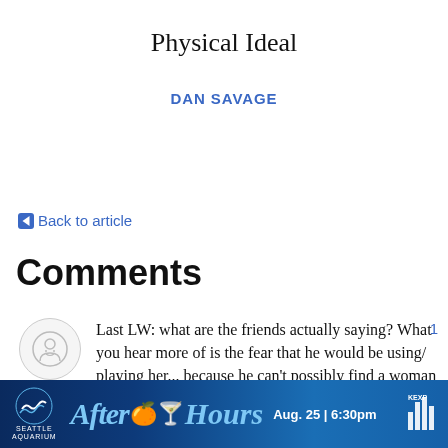Physical Ideal
DAN SAVAGE
← Back to article
Comments
Last LW: what are the friends actually saying? What you hear more of is the fear that he would be using/ playing her... because he can't possibly find a woman that much older
[Figure (infographic): Advertisement banner for Seattle Aquarium After Hours event, Aug. 25 at 6:30pm]